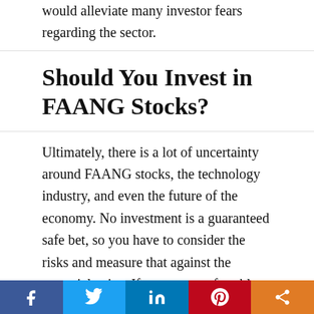would alleviate many investor fears regarding the sector.
Should You Invest in FAANG Stocks?
Ultimately, there is a lot of uncertainty around FAANG stocks, the technology industry, and even the future of the economy. No investment is a guaranteed safe bet, so you have to consider the risks and measure that against the potential gains. If you are comfortable with the risk, then you don’t have to avoid FAANG stocks. However, there are tons of companies out there with potential, so don’t feel limited to only big names, both in the tech sector and beyond.
Social sharing bar: Facebook, Twitter, LinkedIn, Pinterest, Share